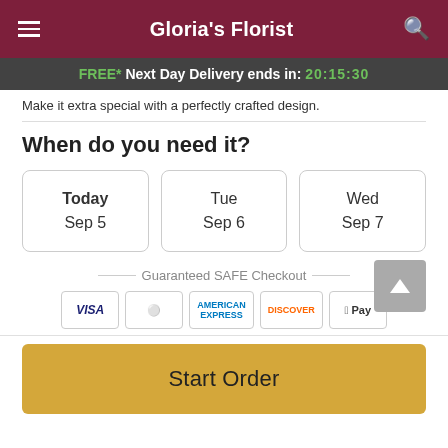Gloria's Florist
FREE* Next Day Delivery ends in: 20:15:30
Make it extra special with a perfectly crafted design.
When do you need it?
Today Sep 5
Tue Sep 6
Wed Sep 7
Guaranteed SAFE Checkout
[Figure (other): Payment icons: VISA, Mastercard, American Express, Discover, Apple Pay]
Start Order